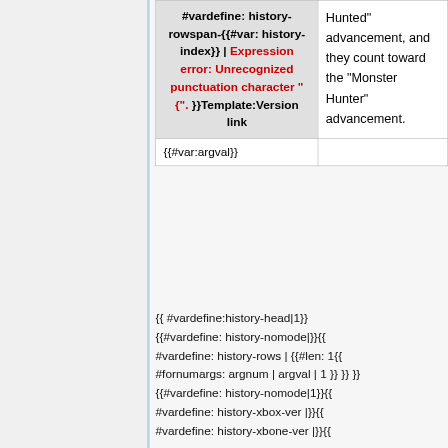| #vardefine: history-rowspan-{{#var: history-index}} | Expression error: Unrecognized punctuation character "{". }}Template:Version link | Hunted" advancement, and they count toward the "Monster Hunter" advancement. |
| {{#var:argval}} |  |
{{ #vardefine:history-head|1}} {{#vardefine: history-nomode|}}{{ #vardefine: history-rows | {{#len: 1{{ #fornumargs: argnum | argval | 1 }} }} }} {{#vardefine: history-nomode|1}}{{ #vardefine: history-xbox-ver |}}{{ #vardefine: history-xbone-ver |}}{{